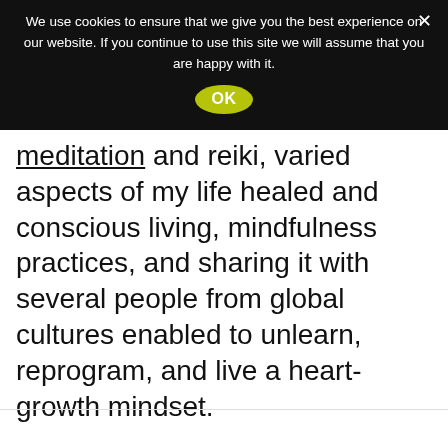We use cookies to ensure that we give you the best experience on our website. If you continue to use this site we will assume that you are happy with it.
OK
meditation and reiki, varied aspects of my life healed and conscious living, mindfulness practices, and sharing it with several people from global cultures enabled to unlearn, reprogram, and live a heart-growth mindset.